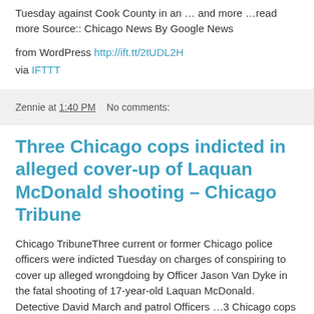Tuesday against Cook County in an … and more …read more Source:: Chicago News By Google News
from WordPress http://ift.tt/2tUDL2H
via IFTTT
Zennie at 1:40 PM    No comments:
Three Chicago cops indicted in alleged cover-up of Laquan McDonald shooting – Chicago Tribune
Chicago TribuneThree current or former Chicago police officers were indicted Tuesday on charges of conspiring to cover up alleged wrongdoing by Officer Jason Van Dyke in the fatal shooting of 17-year-old Laquan McDonald. Detective David March and patrol Officers …3 Chicago cops charged with obstruction in Laquan McDonald caseChicago Sun-Times3 Chicago police officers indicted in [...]